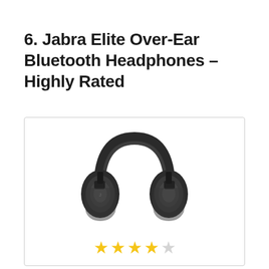6. Jabra Elite Over-Ear Bluetooth Headphones – Highly Rated
[Figure (photo): Jabra Elite over-ear Bluetooth headphones in matte black, shown from a front-angle view with large ear cups and padded headband, displayed inside a bordered product card. Four filled gold stars and one empty star rating shown below the headphone image.]